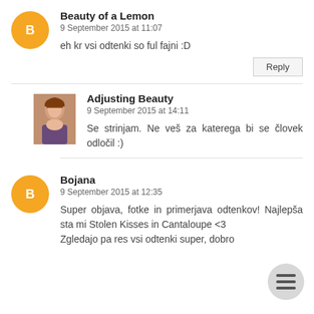Beauty of a Lemon
9 September 2015 at 11:07
eh kr vsi odtenki so ful fajni :D
Reply
Adjusting Beauty
9 September 2015 at 14:11
Se strinjam. Ne veš za katerega bi se človek odločil :)
Bojana
9 September 2015 at 12:35
Super objava, fotke in primerjava odtenkov! Najlepša sta mi Stolen Kisses in Cantaloupe <3 Zgledajo pa res vsi odtenki super, dobro